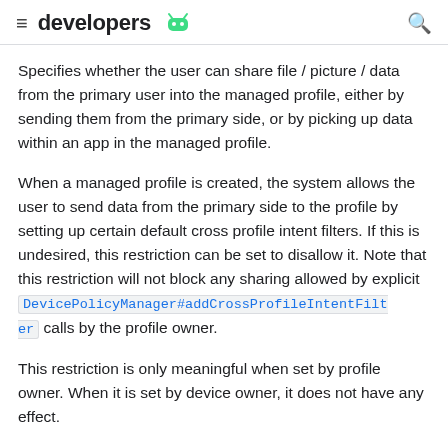≡ developers 🤖 🔍
Specifies whether the user can share file / picture / data from the primary user into the managed profile, either by sending them from the primary side, or by picking up data within an app in the managed profile.
When a managed profile is created, the system allows the user to send data from the primary side to the profile by setting up certain default cross profile intent filters. If this is undesired, this restriction can be set to disallow it. Note that this restriction will not block any sharing allowed by explicit DevicePolicyManager#addCrossProfileIntentFilter calls by the profile owner.
This restriction is only meaningful when set by profile owner. When it is set by device owner, it does not have any effect.